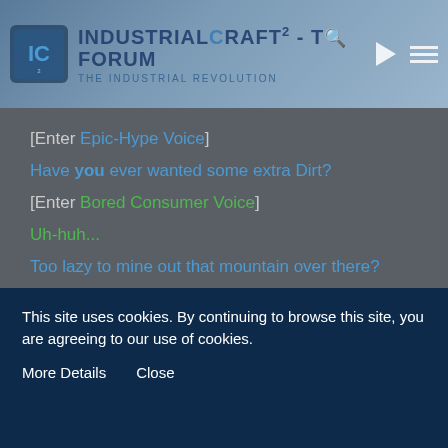IndustrialCraft² - The Forum | The Industrial Revolution
[Enter Epic-Hype Voice]
Have you ever wanted some extra Dirt?
[Enter Bored Consumer Voice]
Uh-huh...
Too lazy to mine out that mountain over there?
Yeah...
Then create your own Dirt by using our patented blend of Sand, Cobblestone, and Scrap.
This site uses cookies. By continuing to browse this site, you are agreeing to our use of cookies.
More Details   Close